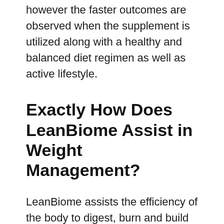however the faster outcomes are observed when the supplement is utilized along with a healthy and balanced diet regimen as well as active lifestyle.
Exactly How Does LeanBiome Assist in Weight Management?
LeanBiome assists the efficiency of the body to digest, burn and build up fat from the food. It is based on a basic mechanism that bacterial strains in the body are involved in digestion and weight administration. Diet pills are often regarded as risky and also dangerous, which holds true when you are choosing an artificial product. If you are making use of a well-noted biome, the experience is d…